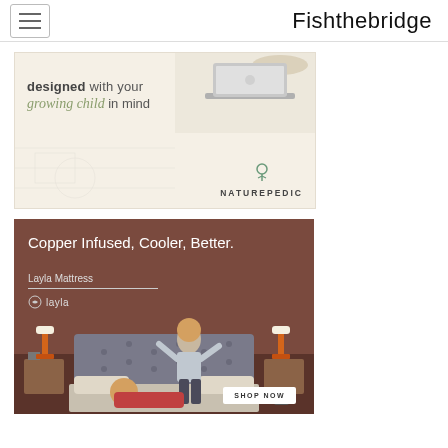Fishthebridge
[Figure (photo): Naturepedic advertisement banner: cream/beige background with a laptop visible in upper right, text reading 'designed with your growing child in mind', NATUREPEDIC logo at bottom right with a plant icon.]
[Figure (photo): Layla Mattress advertisement: dark brownish-red background, text 'Copper Infused, Cooler, Better.' and 'Layla Mattress' with Layla logo, two people jumping/lying on a mattress with orange lamps on nightstands on either side, 'SHOP NOW' button at bottom right.]